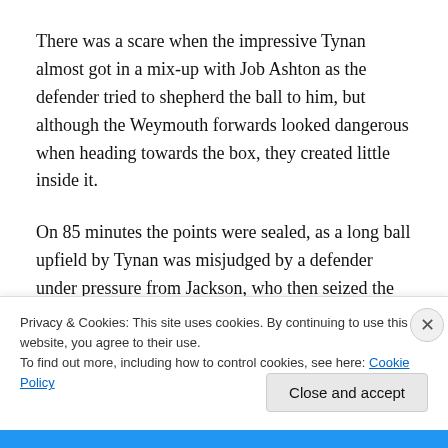There was a scare when the impressive Tynan almost got in a mix-up with Job Ashton as the defender tried to shepherd the ball to him, but although the Weymouth forwards looked dangerous when heading towards the box, they created little inside it.
On 85 minutes the points were sealed, as a long ball upfield by Tynan was misjudged by a defender under pressure from Jackson, who then seized the ball and hit a [truncated]
Privacy & Cookies: This site uses cookies. By continuing to use this website, you agree to their use.
To find out more, including how to control cookies, see here: Cookie Policy